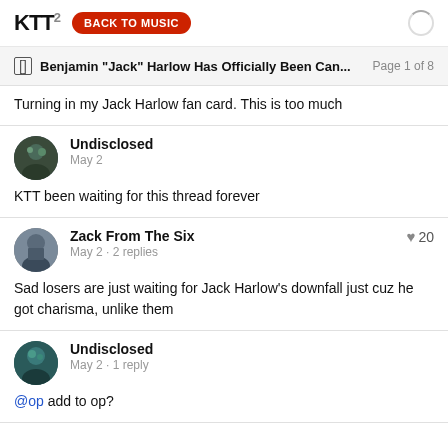KTT2  BACK TO MUSIC
Benjamin "Jack" Harlow Has Officially Been Can...  Page 1 of 8
Turning in my Jack Harlow fan card. This is too much
Undisclosed
May 2
KTT been waiting for this thread forever
Zack From The Six
May 2 · 2 replies
♥ 20
Sad losers are just waiting for Jack Harlow's downfall just cuz he got charisma, unlike them
Undisclosed
May 2 · 1 reply
@op add to op?